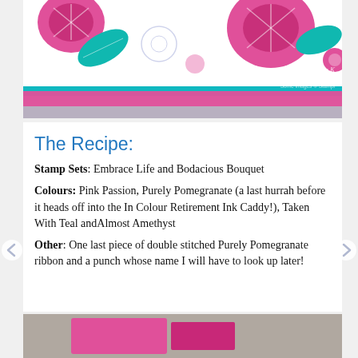[Figure (photo): Craft card with pink and teal floral stamp design, showing pink and lavender stripes, with watermark text 'Sue K' and 'www.madexcrea...' and 'Some images © Stampi...']
The Recipe:
Stamp Sets: Embrace Life and Bodacious Bouquet
Colours: Pink Passion, Purely Pomegranate (a last hurrah before it heads off into the In Colour Retirement Ink Caddy!), Taken With Teal andAlmost Amethyst
Other: One last piece of double stitched Purely Pomegranate ribbon and a punch whose name I will have to look up later!
[Figure (photo): Bottom portion of a craft card showing pink elements on a neutral background]